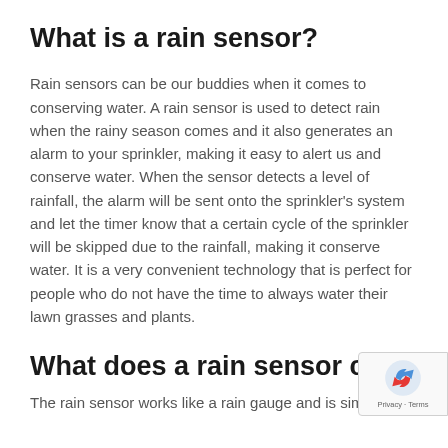What is a rain sensor?
Rain sensors can be our buddies when it comes to conserving water. A rain sensor is used to detect rain when the rainy season comes and it also generates an alarm to your sprinkler, making it easy to alert us and conserve water. When the sensor detects a level of rainfall, the alarm will be sent onto the sprinkler's system and let the timer know that a certain cycle of the sprinkler will be skipped due to the rainfall, making it conserve water. It is a very convenient technology that is perfect for people who do not have the time to always water their lawn grasses and plants.
What does a rain sensor conta
The rain sensor works like...